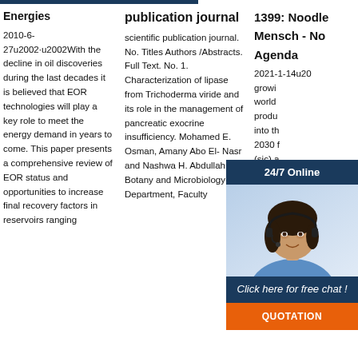Energies
2010-6-27u2002·u2002With the decline in oil discoveries during the last decades it is believed that EOR technologies will play a key role to meet the energy demand in years to come. This paper presents a comprehensive review of EOR status and opportunities to increase final recovery factors in reservoirs ranging
publication journal
scientific publication journal. No. Titles Authors /Abstracts. Full Text. No. 1. Characterization of lipase from Trichoderma viride and its role in the management of pancreatic exocrine insufficiency. Mohamed E. Osman, Amany Abo El- Nasr and Nashwa H. Abdullah. Botany and Microbiology Department, Faculty
1399: Noodle Mensch - No Agenda
2021-1-14u20... growing world produ... into th... 2030 f... (sic) a... which... such as World Economic Forum of Klaus Schwab and BlackRock of W... Street, the world's largest private